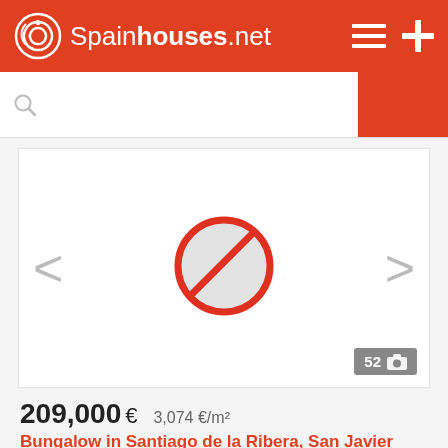Spainhouses.net
[Figure (screenshot): Property listing image area showing a no-image placeholder (red circle with slash) with left/right navigation arrows and a photo count badge showing '52']
209,000 €   3,074 €/m²
Bungalow in Santiago de la Ribera, San Javier